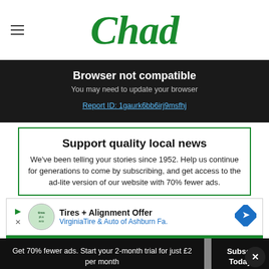Chad
Browser not compatible
You may need to update your browser
Report ID: 1gaurk6bb6irj9msfhj
Support quality local news
We've been telling your stories since 1952. Help us continue for generations to come by subscribing, and get access to the ad-lite version of our website with 70% fewer ads.
[Figure (other): Tires + Alignment Offer advertisement for VirginiaTire & Auto of Ashburn Fa. with logo and navigation icon]
Get 70% fewer ads. Start your 2-month trial for just £2 per month
Subscribe Today